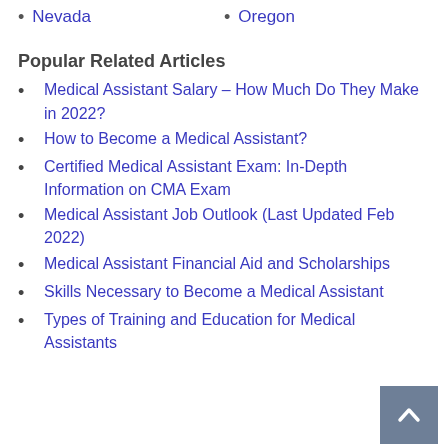Nevada
Oregon
Popular Related Articles
Medical Assistant Salary – How Much Do They Make in 2022?
How to Become a Medical Assistant?
Certified Medical Assistant Exam: In-Depth Information on CMA Exam
Medical Assistant Job Outlook (Last Updated Feb 2022)
Medical Assistant Financial Aid and Scholarships
Skills Necessary to Become a Medical Assistant
Types of Training and Education for Medical Assistants